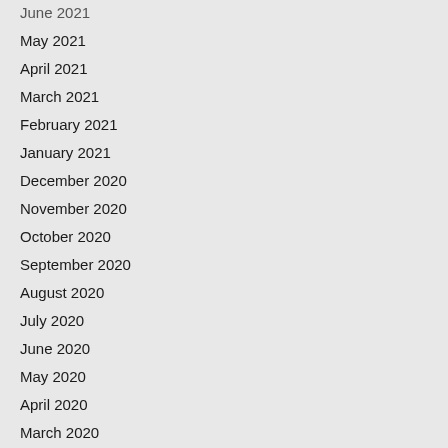June 2021
May 2021
April 2021
March 2021
February 2021
January 2021
December 2020
November 2020
October 2020
September 2020
August 2020
July 2020
June 2020
May 2020
April 2020
March 2020
February 2020
December 2019
November 2019
October 2019